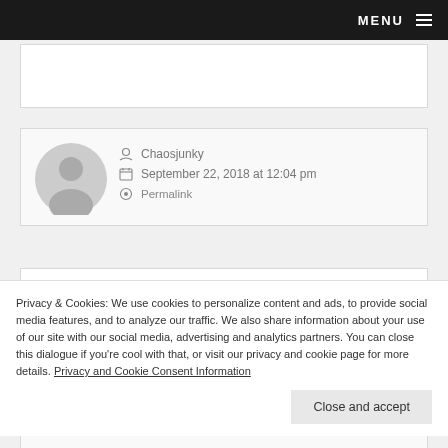MENU
Chaosjunky
September 22, 2018 at 12:04 pm
Permalink
One question is will they lower ad costs on things like guild structures and armour kits?
Privacy & Cookies: We use cookies to personalize content and ads, to provide social media features, and to analyze our traffic. We also share information about your use of our site with our social media, advertising and analytics partners. You can close this dialogue if you're cool with that, or visit our privacy and cookie page for more details. Privacy and Cookie Consent Information
Close and accept